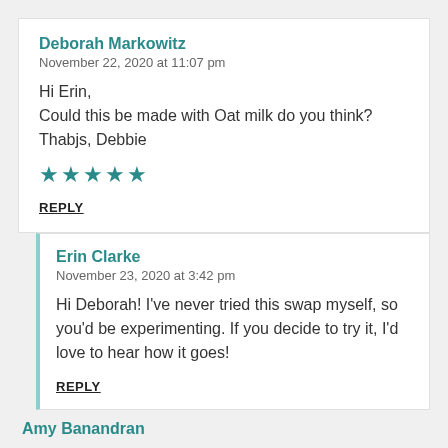Deborah Markowitz
November 22, 2020 at 11:07 pm
Hi Erin,
Could this be made with Oat milk do you think?
Thabjs, Debbie
[Figure (other): Five teal star rating icons]
REPLY
Erin Clarke
November 23, 2020 at 3:42 pm
Hi Deborah! I've never tried this swap myself, so you'd be experimenting. If you decide to try it, I'd love to hear how it goes!
REPLY
Amy Banandran